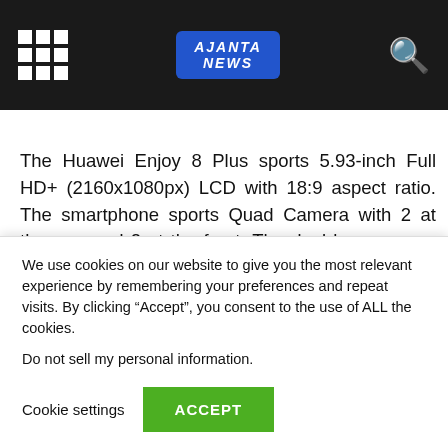AJANTA NEWS [header logo and navigation]
The Huawei Enjoy 8 Plus sports 5.93-inch Full HD+ (2160x1080px) LCD with 18:9 aspect ratio. The smartphone sports Quad Camera with 2 at the rear and 2 at the front. The dual lens camera at the back comprises 13-megapixel primary and 2-megapixel secondary lens sensors with an LED flash. The front camera bears dual lens camera setup with primary being 16-megapixel sensor and 2-
We use cookies on our website to give you the most relevant experience by remembering your preferences and repeat visits. By clicking “Accept”, you consent to the use of ALL the cookies.
Do not sell my personal information.
Cookie settings  ACCEPT